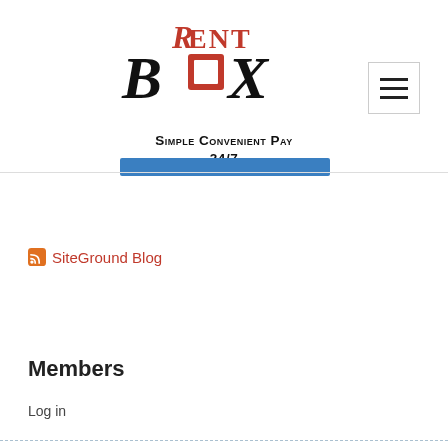[Figure (logo): RentBox logo with red 'RENT' text and black stylized 'BOX' lettering with a red square, and tagline 'Simple Convenient Pay 24/7']
SiteGround Blog
Members
Log in